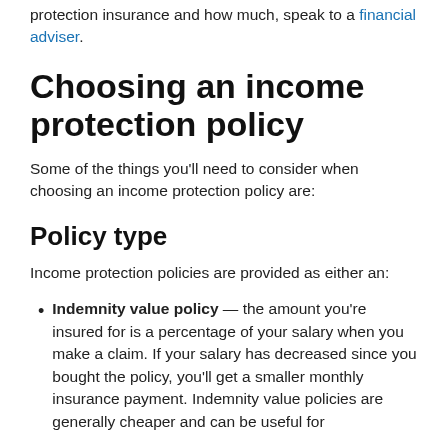protection insurance and how much, speak to a financial adviser.
Choosing an income protection policy
Some of the things you'll need to consider when choosing an income protection policy are:
Policy type
Income protection policies are provided as either an:
Indemnity value policy — the amount you're insured for is a percentage of your salary when you make a claim. If your salary has decreased since you bought the policy, you'll get a smaller monthly insurance payment. Indemnity value policies are generally cheaper and can be useful for